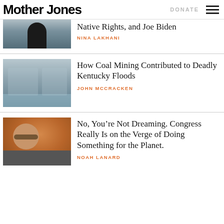Mother Jones | DONATE
Native Rights, and Joe Biden
NINA LAKHANI
How Coal Mining Contributed to Deadly Kentucky Floods
JOHN MCCRACKEN
No, You're Not Dreaming. Congress Really Is on the Verge of Doing Something for the Planet.
NOAH LANARD